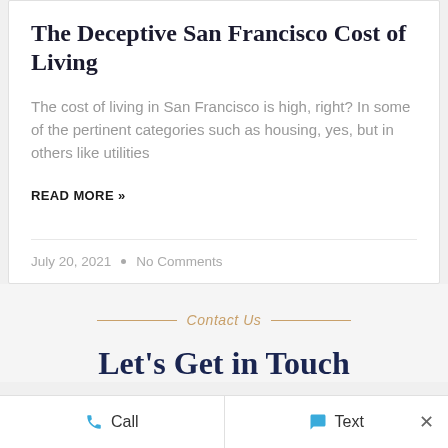The Deceptive San Francisco Cost of Living
The cost of living in San Francisco is high, right? In some of the pertinent categories such as housing, yes, but in others like utilities
READ MORE »
July 20, 2021  •  No Comments
Contact Us
Let's Get in Touch
Call    Text